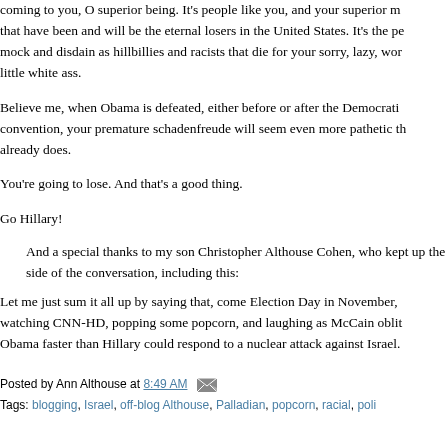coming to you, O superior being. It's people like you, and your superior m... that have been and will be the eternal losers in the United States. It's the pe... mock and disdain as hillbillies and racists that die for your sorry, lazy, wor... little white ass.
Believe me, when Obama is defeated, either before or after the Democratic convention, your premature schadenfreude will seem even more pathetic th... already does.
You're going to lose. And that's a good thing.
Go Hillary!
And a special thanks to my son Christopher Althouse Cohen, who kept up the side of the conversation, including this:
Let me just sum it all up by saying that, come Election Day in November, watching CNN-HD, popping some popcorn, and laughing as McCain oblit... Obama faster than Hillary could respond to a nuclear attack against Israel.
Posted by Ann Althouse at 8:49 AM
Tags: blogging, Israel, off-blog Althouse, Palladian, popcorn, racial, poli...